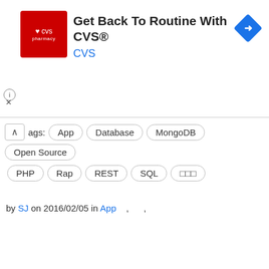[Figure (infographic): CVS Pharmacy advertisement banner: red CVS pharmacy logo on left, headline 'Get Back To Routine With CVS®', blue navigation/maps icon on right]
ags: App Database MongoDB Open Source PHP Rap REST SQL □□□
by SJ on 2016/02/05 in App , ,